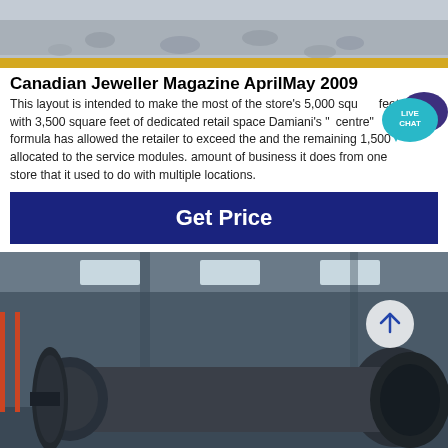[Figure (photo): Top photograph showing what appears to be gravel or small stones on ground with a yellow line visible at the bottom]
Canadian Jeweller Magazine AprilMay 2009
This layout is intended to make the most of the store's 5,000 square feet, with 3,500 square feet of dedicated retail space Damiani's "centre" formula has allowed the retailer to exceed the and the remaining 1,500 allocated to the service modules. amount of business it does from one store that it used to do with multiple locations.
[Figure (other): Live chat speech bubble icon in teal/blue color with text LIVE CHAT]
Get Price
[Figure (photo): Bottom photograph showing a large industrial ball mill or grinding mill in a factory/warehouse setting, dark grey cylindrical machine on floor]